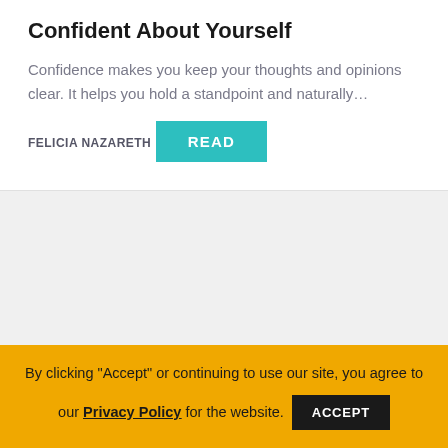Confident About Yourself
Confidence makes you keep your thoughts and opinions clear. It helps you hold a standpoint and naturally…
FELICIA NAZARETH
READ
By clicking "Accept" or continuing to use our site, you agree to our Privacy Policy for the website.